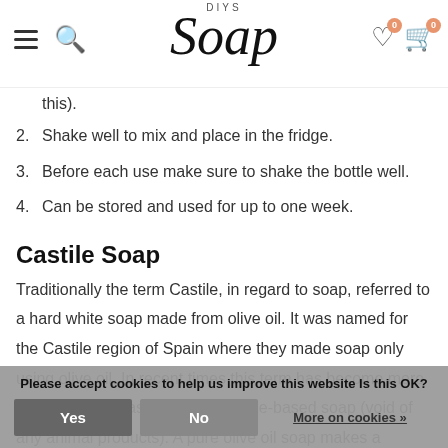DIYS Soap — navigation header with hamburger menu, search icon, logo, heart (0) and cart (0) icons
this).
2. Shake well to mix and place in the fridge.
3. Before each use make sure to shake the bottle well.
4. Can be stored and used for up to one week.
Castile Soap
Traditionally the term Castile, in regard to soap, referred to a hard white soap made from olive oil. It was named for the Castile region of Spain where they made soap only using olive oil. In recent times this term has become more loosely defined as a pure vegetable-based soap (void of any animal products). A pure olive oil soap makes a moisturising soap, but it d… w… ny soap makers find that using a blend of different oils allows them to customise the…
Please accept cookies to help us improve this website Is this OK?
Yes
No
More on cookies »